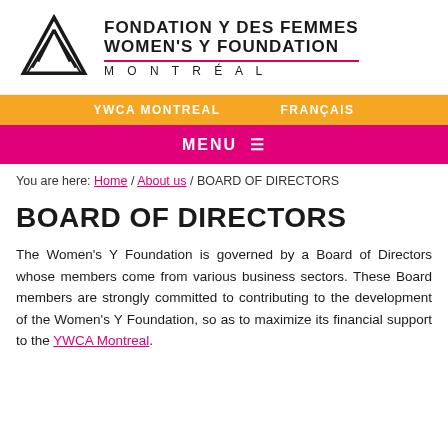[Figure (logo): Fondation Y des Femmes / Women's Y Foundation Montreal logo with triangular geometric mark and text]
YWCA MONTREAL   FRANÇAIS
MENU ≡
You are here: Home / About us / BOARD OF DIRECTORS
BOARD OF DIRECTORS
The Women's Y Foundation is governed by a Board of Directors whose members come from various business sectors. These Board members are strongly committed to contributing to the development of the Women's Y Foundation, so as to maximize its financial support to the YWCA Montreal.